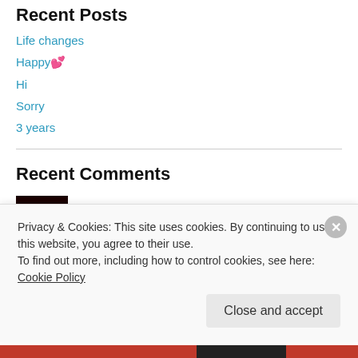Recent Posts
Life changes
Happy 💕
Hi
Sorry
3 years
Recent Comments
Isabella LeCour on Sorry
nichtisobel on Happy 💕
Privacy & Cookies: This site uses cookies. By continuing to use this website, you agree to their use. To find out more, including how to control cookies, see here: Cookie Policy
Close and accept